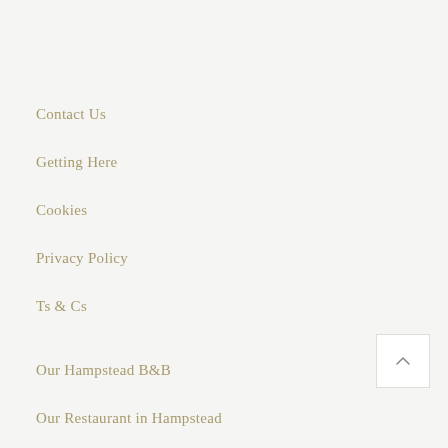Contact Us
Getting Here
Cookies
Privacy Policy
Ts & Cs
Our Hampstead B&B
Our Restaurant in Hampstead
Our Story
Gift Cards